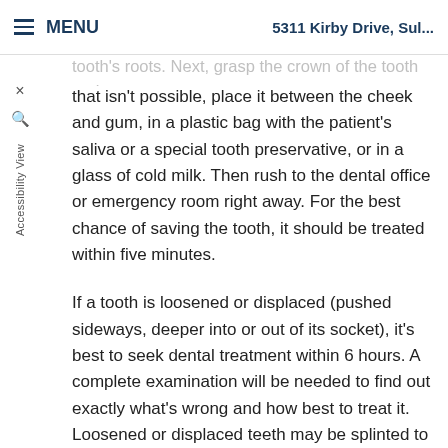MENU  5311 Kirby Drive, Sul...
tooth's roots. Next, grasp the crown of the tooth and th... back in the socket facing ... that isn't possible, place it between the cheek and gum, in a plastic bag with the patient's saliva or a special tooth preservative, or in a glass of cold milk. Then rush to the dental office or emergency room right away. For the best chance of saving the tooth, it should be treated within five minutes.
If a tooth is loosened or displaced (pushed sideways, deeper into or out of its socket), it's best to seek dental treatment within 6 hours. A complete examination will be needed to find out exactly what's wrong and how best to treat it. Loosened or displaced teeth may be splinted to give them stability while they heal. In some situations, a root canal may be necessary to save the tooth.
Broken or fractured (cracked) teeth should receive